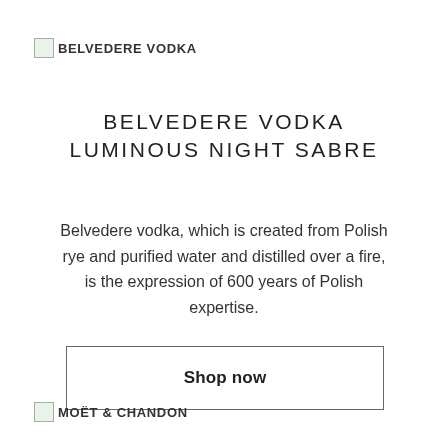[Figure (logo): Belvedere Vodka logo placeholder image with text BELVEDERE VODKA]
BELVEDERE VODKA LUMINOUS NIGHT SABRE
Belvedere vodka, which is created from Polish rye and purified water and distilled over a fire, is the expression of 600 years of Polish expertise.
Shop now
[Figure (logo): Moët & Chandon logo placeholder image with text MOËT & CHANDON]